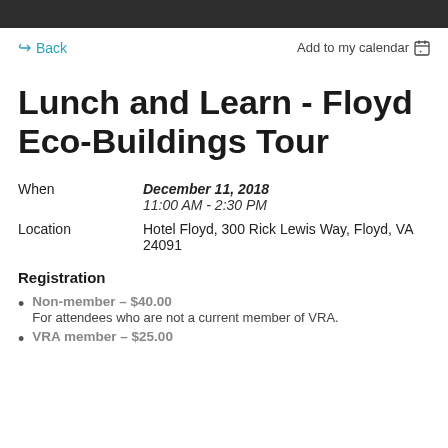Back
Add to my calendar
Lunch and Learn - Floyd Eco-Buildings Tour
When	December 11, 2018
11:00 AM - 2:30 PM
Location	Hotel Floyd, 300 Rick Lewis Way, Floyd, VA 24091
Registration
Non-member – $40.00
For attendees who are not a current member of VRA.
VRA member – $25.00